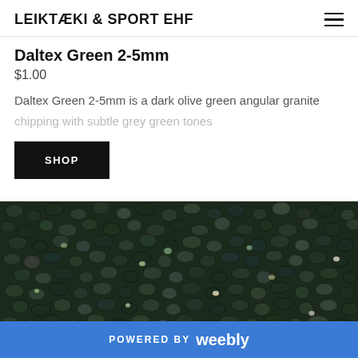LEIKTÆKI & SPORT EHF
Daltex Green 2-5mm
$1.00
Daltex Green 2-5mm is a dark olive green angular granite chipping with subtle grey green tones
[Figure (screenshot): Black SHOP button]
[Figure (photo): Close-up photo of dark olive green angular granite chippings]
POWERED BY weebly